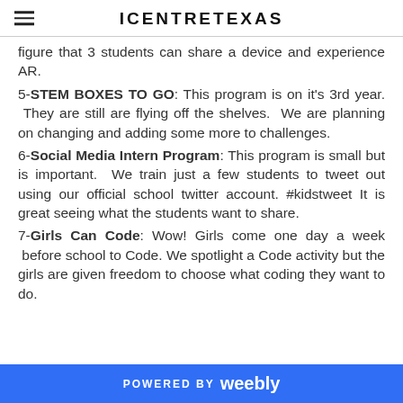ICENTRETEXAS
figure that 3 students can share a device and experience AR.
5-STEM BOXES TO GO: This program is on it's 3rd year. They are still are flying off the shelves. We are planning on changing and adding some more to challenges.
6-Social Media Intern Program: This program is small but is important. We train just a few students to tweet out using our official school twitter account. #kidstweet It is great seeing what the students want to share.
7-Girls Can Code: Wow! Girls come one day a week before school to Code. We spotlight a Code activity but the girls are given freedom to choose what coding they want to do.
POWERED BY weebly